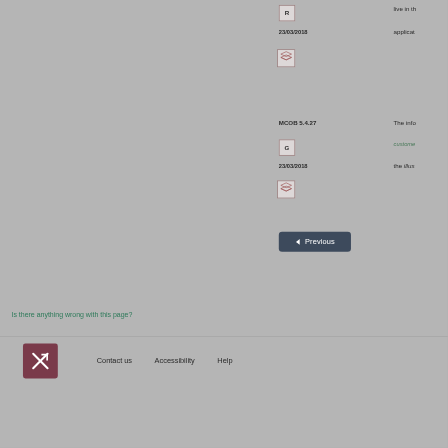R
live in th...
23/03/2018
applicat...
[Figure (other): Stack/layers icon in a bordered box]
MCOB 5.4.27
The info...
G
custome...
23/03/2018
the illus...
[Figure (other): Stack/layers icon in a bordered box]
◄ Previous
Is there anything wrong with this page?
[Figure (logo): FCA logo - diagonal arrow in dark red square]
Contact us   Accessibility   Help